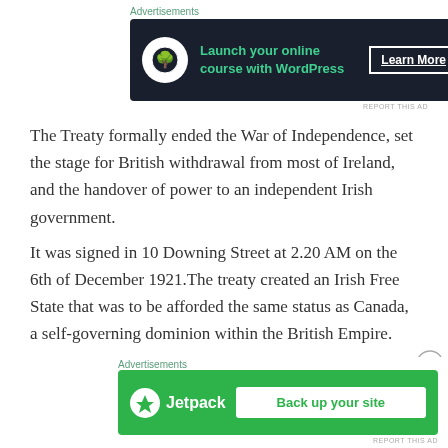Advertisements
[Figure (other): Advertisement banner: Launch your online course with WordPress – Learn More button, dark background with teal text and bonsai tree icon]
The Treaty formally ended the War of Independence, set the stage for British withdrawal from most of Ireland, and the handover of power to an independent Irish government.
It was signed in 10 Downing Street at 2.20 AM on the 6th of December 1921.The treaty created an Irish Free State that was to be afforded the same status as Canada, a self-governing dominion within the British Empire.
It was signed by the Irish delegation: Arthur Griffith…
Advertisements
[Figure (other): Jetpack advertisement banner: Back up your site – green background with Jetpack logo and white button]